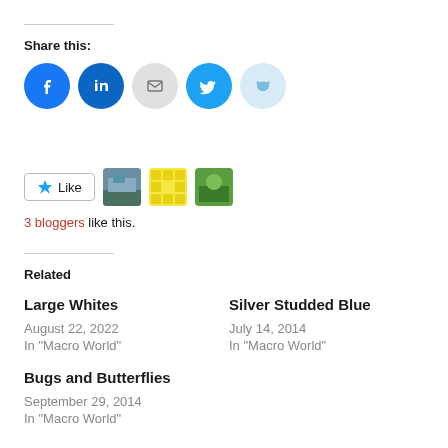Share this:
[Figure (infographic): Row of social media share icon circles: Facebook (blue), LinkedIn (blue), Email (grey), Twitter (blue), Reddit (light blue)]
[Figure (infographic): Like button with star icon, followed by three small avatar/thumbnail images]
3 bloggers like this.
Related
Large Whites
August 22, 2022
In "Macro World"
Silver Studded Blue
July 14, 2014
In "Macro World"
Bugs and Butterflies
September 29, 2014
In "Macro World"